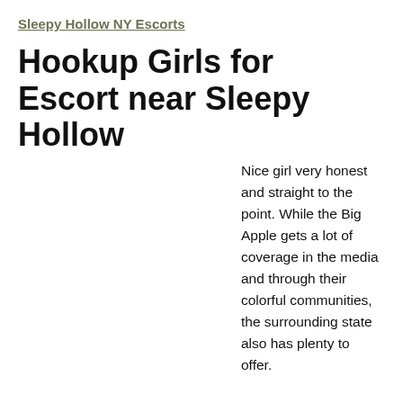Sleepy Hollow NY Escorts
Hookup Girls for Escort near Sleepy Hollow
Nice girl very honest and straight to the point. While the Big Apple gets a lot of coverage in the media and through their colorful communities, the surrounding state also has plenty to offer.